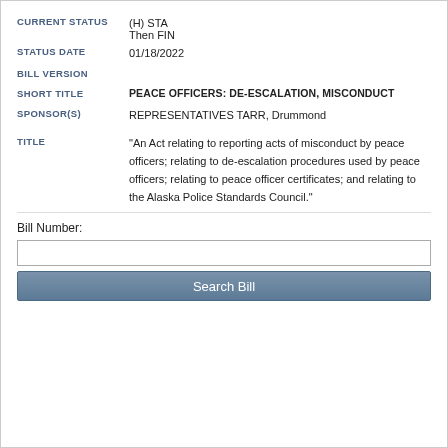CURRENT STATUS: (H) STA
Then FIN
STATUS DATE: 01/18/2022
BILL VERSION
SHORT TITLE: PEACE OFFICERS: DE-ESCALATION, MISCONDUCT
SPONSOR(S): REPRESENTATIVES TARR, Drummond
TITLE: "An Act relating to reporting acts of misconduct by peace officers; relating to de-escalation procedures used by peace officers; relating to peace officer certificates; and relating to the Alaska Police Standards Council."
Bill Number:
Search Bill